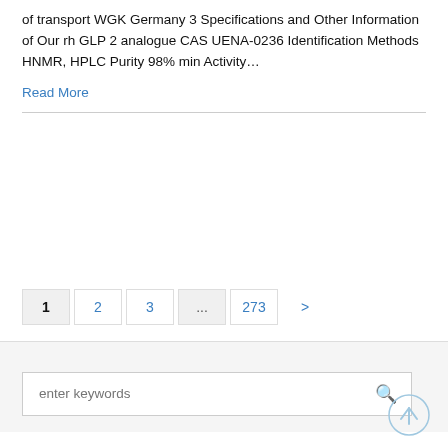of transport WGK Germany 3 Specifications and Other Information of Our rh GLP 2 analogue CAS UENA-0236 Identification Methods HNMR, HPLC Purity 98% min Activity…
Read More
1  2  3  ...  273  >
enter keywords